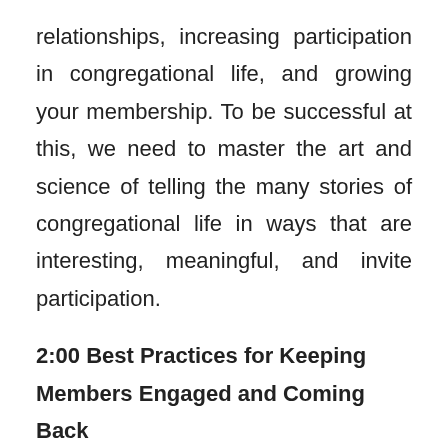relationships, increasing participation in congregational life, and growing your membership. To be successful at this, we need to master the art and science of telling the many stories of congregational life in ways that are interesting, meaningful, and invite participation.
2:00 Best Practices for Keeping Members Engaged and Coming Back
If we’re successful in brining newcomers into our communities, soon we will have new members. Which raises the question, how do we keep members coming back in today’s world with so many competing demands for people’s attention and time.